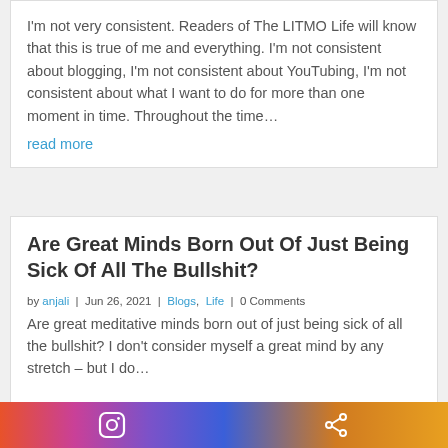I'm not very consistent. Readers of The LITMO Life will know that this is true of me and everything. I'm not consistent about blogging, I'm not consistent about YouTubing, I'm not consistent about what I want to do for more than one moment in time. Throughout the time…
read more
Are Great Minds Born Out Of Just Being Sick Of All The Bullshit?
by anjali | Jun 26, 2021 | Blogs, Life | 0 Comments
Are great meditative minds born out of just being sick of all the bullshit? I don't consider myself a great mind by any stretch – but I do…